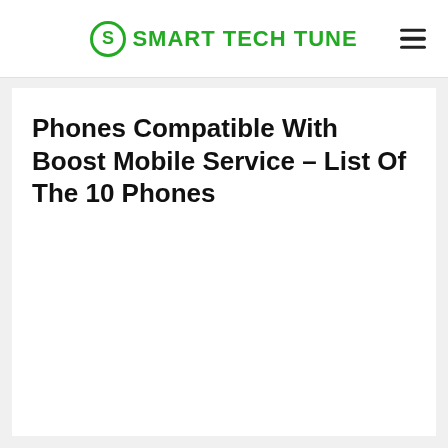SMART TECH TUNE
Phones Compatible With Boost Mobile Service – List Of The 10 Phones